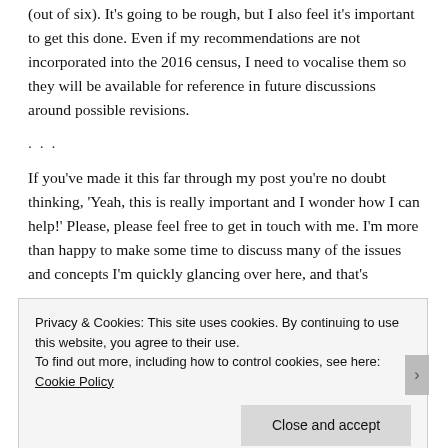(out of six). It's going to be rough, but I also feel it's important to get this done. Even if my recommendations are not incorporated into the 2016 census, I need to vocalise them so they will be available for reference in future discussions around possible revisions.
. . .
If you've made it this far through my post you're no doubt thinking, 'Yeah, this is really important and I wonder how I can help!' Please, please feel free to get in touch with me. I'm more than happy to make some time to discuss many of the issues and concepts I'm quickly glancing over here, and that's
Privacy & Cookies: This site uses cookies. By continuing to use this website, you agree to their use.
To find out more, including how to control cookies, see here: Cookie Policy
Close and accept